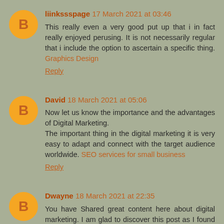liinkssspage 17 March 2021 at 03:46
This really even a very good put up that i in fact really enjoyed perusing. It is not necessarily regular that i include the option to ascertain a specific thing. Graphics Design
Reply
David 18 March 2021 at 05:06
Now let us know the importance and the advantages of Digital Marketing.
The important thing in the digital marketing it is very easy to adapt and connect with the target audience worldwide. SEO services for small business
Reply
Dwayne 18 March 2021 at 22:35
You have Shared great content here about digital marketing. I am glad to discover this post as I found lots of